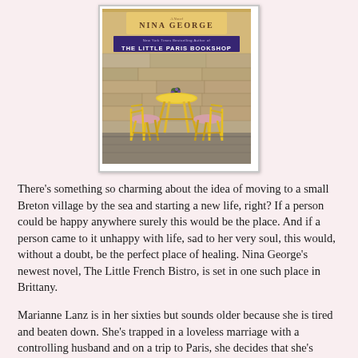[Figure (photo): Book cover of 'The Little French Bistro' by Nina George, showing a yellow café table and two chairs with lilac cushions against a stone wall. The cover has a warm golden/ochre color with the author's name prominently displayed and a purple banner reading 'THE LITTLE PARIS BOOKSHOP'.]
There's something so charming about the idea of moving to a small Breton village by the sea and starting a new life, right? If a person could be happy anywhere surely this would be the place. And if a person came to it unhappy with life, sad to her very soul, this would, without a doubt, be the perfect place of healing. Nina George's newest novel, The Little French Bistro, is set in one such place in Brittany.
Marianne Lanz is in her sixties but sounds older because she is tired and beaten down. She's trapped in a loveless marriage with a controlling husband and on a trip to Paris, she decides that she's through with life and determines to commit suicide by jumping off